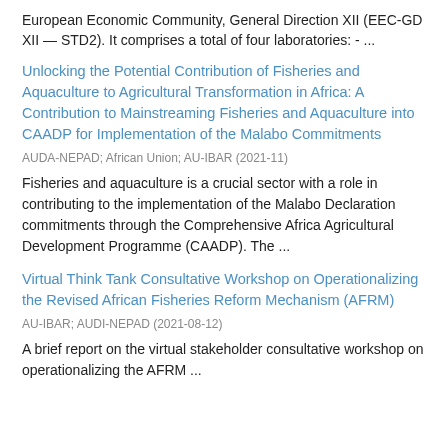European Economic Community, General Direction XII (EEC-GD XII — STD2). It comprises a total of four laboratories: - ...
Unlocking the Potential Contribution of Fisheries and Aquaculture to Agricultural Transformation in Africa: A Contribution to Mainstreaming Fisheries and Aquaculture into CAADP for Implementation of the Malabo Commitments
AUDA-NEPAD; African Union; AU-IBAR (2021-11)
Fisheries and aquaculture is a crucial sector with a role in contributing to the implementation of the Malabo Declaration commitments through the Comprehensive Africa Agricultural Development Programme (CAADP). The ...
Virtual Think Tank Consultative Workshop on Operationalizing the Revised African Fisheries Reform Mechanism (AFRM)
AU-IBAR; AUDI-NEPAD (2021-08-12)
A brief report on the virtual stakeholder consultative workshop on operationalizing the AFRM ...